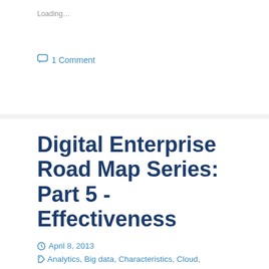Loading…
1 Comment
Digital Enterprise Road Map Series: Part 5 -Effectiveness
April 8, 2013   Analytics, Big data, Characteristics, Cloud, Effectiveness, Internet of Things, Mobile, Social, systems of engagement
In part five of our Digital Enterprise road map series, we focus on business effectiveness. Efficiency dominated the last two decades with a